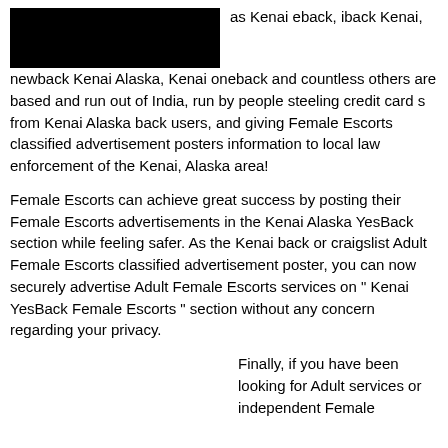[Figure (other): Black redacted image block]
as Kenai eback, iback Kenai, newback Kenai Alaska, Kenai oneback and countless others are based and run out of India, run by people steeling credit card s from Kenai Alaska back users, and giving Female Escorts classified advertisement posters information to local law enforcement of the Kenai, Alaska area!
Female Escorts can achieve great success by posting their Female Escorts advertisements in the Kenai Alaska YesBack section while feeling safer. As the Kenai back or craigslist Adult Female Escorts classified advertisement poster, you can now securely advertise Adult Female Escorts services on " Kenai YesBack Female Escorts " section without any concern regarding your privacy.
Finally, if you have been looking for Adult services or independent Female